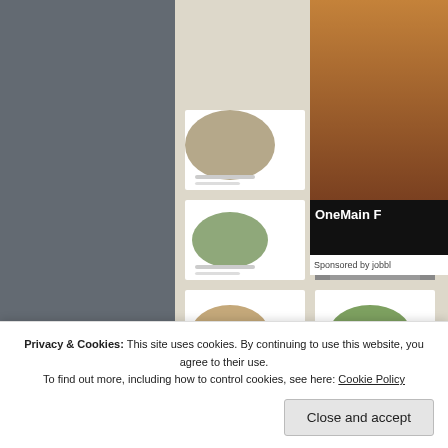[Figure (photo): Left advertisement area with dark gray background and a food magazine/cookbook layout showing food photography, salads, bowls, and a chef in black and white. Letter A logo visible on app icon.]
[Figure (photo): Top right advertisement showing blurred warm-toned background with black banner reading 'OneMain F' (truncated) and 'Sponsored by jobbl' text below.]
[Figure (photo): Bottom right advertisement showing bare winter trees against blue sky with a person partially visible.]
REPORT THIS AD
Privacy & Cookies: This site uses cookies. By continuing to use this website, you agree to their use. To find out more, including how to control cookies, see here: Cookie Policy
Close and accept
REPORT THIS AD